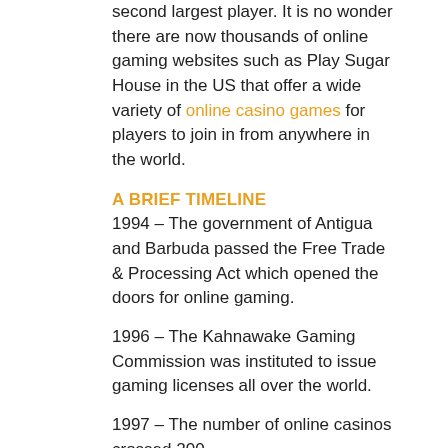second largest player. It is no wonder there are now thousands of online gaming websites such as Play Sugar House in the US that offer a wide variety of online casino games for players to join in from anywhere in the world.
A BRIEF TIMELINE
1994 – The government of Antigua and Barbuda passed the Free Trade & Processing Act which opened the doors for online gaming.
1996 – The Kahnawake Gaming Commission was instituted to issue gaming licenses all over the world.
1997 – The number of online casinos crossed 200.
1999 – Multiplayer online gaming was introduced making gaming a social activity.
2002 – First 1 million USD jackpot won online